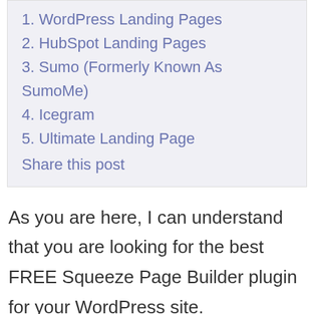1. WordPress Landing Pages
2. HubSpot Landing Pages
3. Sumo (Formerly Known As SumoMe)
4. Icegram
5. Ultimate Landing Page
Share this post
As you are here, I can understand that you are looking for the best FREE Squeeze Page Builder plugin for your WordPress site.